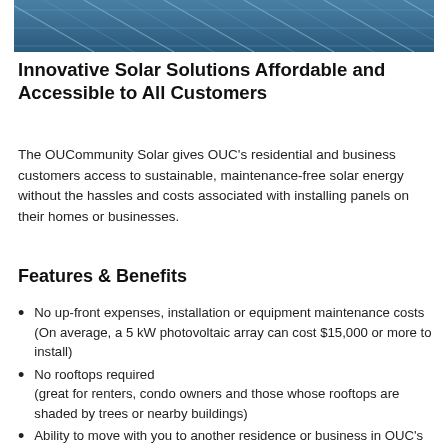[Figure (photo): Close-up photograph of solar panels with a blue metallic sheen, cropped at the top of the page.]
Innovative Solar Solutions Affordable and Accessible to All Customers
The OUCommunity Solar gives OUC's residential and business customers access to sustainable, maintenance-free solar energy without the hassles and costs associated with installing panels on their homes or businesses.
Features & Benefits
No up-front expenses, installation or equipment maintenance costs (On average, a 5 kW photovoltaic array can cost $15,000 or more to install)
No rooftops required (great for renters, condo owners and those whose rooftops are shaded by trees or nearby buildings)
Ability to move with you to another residence or business in OUC's service territory
Choose your own block to enjoy an affordable, clean energy option